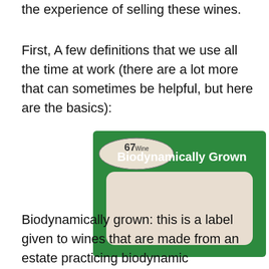the experience of selling these wines.
First, A few definitions that we use all the time at work (there are a lot more that can sometimes be helpful, but here are the basics):
[Figure (photo): A green price tag / label from 67Wine with the text 'Biodynamically Grown' in white bold letters on a green background, with an oval logo for '67 Wine' and a blank white rectangular label area in the center.]
Biodynamically grown: this is a label given to wines that are made from an estate practicing biodynamic agriculture, but is not certified or undergoing any